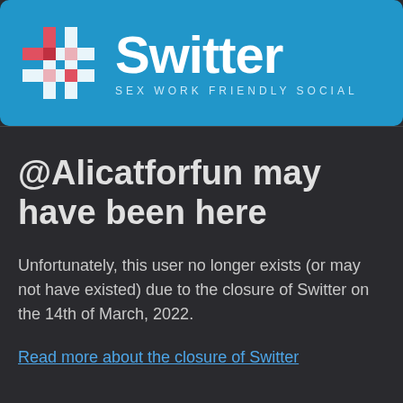[Figure (logo): Switter logo banner with grid hashtag icon and text 'Switter' and 'SEX WORK FRIENDLY SOCIAL' on blue background]
@Alicatforfun may have been here
Unfortunately, this user no longer exists (or may not have existed) due to the closure of Switter on the 14th of March, 2022.
Read more about the closure of Switter